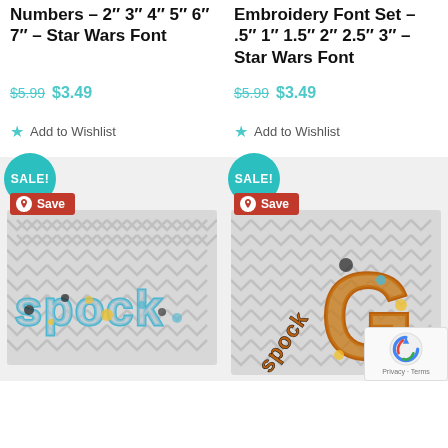Numbers – 2″ 3″ 4″ 5″ 6″ 7″ – Star Wars Font
$5.99 $3.49
Add to Wishlist
Embroidery Font Set – .5″ 1″ 1.5″ 2″ 2.5″ 3″ – Star Wars Font
$5.99 $3.49
Add to Wishlist
[Figure (photo): Embroidery design showing 'spock' text on chevron background fabric, with SALE! badge and Save button]
[Figure (photo): Embroidery design showing large letter 'G' and 'spock' text on chevron background fabric, with SALE! badge and Save button]